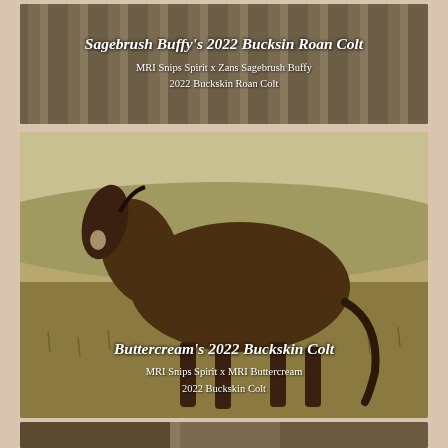[Figure (photo): Photo of horse/foal with dry grass and tree trunks in background (Sagebrush Buffy's 2022 Buckskin Roan Colt)]
Sagebrush Buffy's 2022 Bucksin Roan Colt
MRI Snips Spirit x Zans Sagebrush Buffy
2022 Buckskin Roan Colt
[Figure (photo): Photo of a young buckskin/bay colt standing in a grassy field landscape]
Buttercream's 2022 Buckskin Colt
MRI Snips Spirit x MRI Buttercream
2022 Buckskin Colt
[Figure (photo): Partial photo at bottom of page (cropped)]